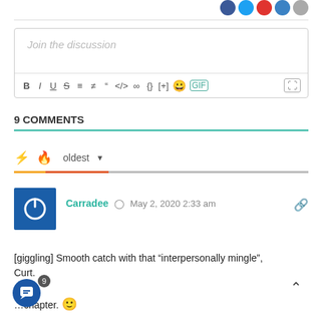[Figure (other): Social share icon buttons (Facebook, Twitter, Reddit, Pinterest, grey) at top right]
[Figure (other): Comment text editor box with placeholder 'Join the discussion' and formatting toolbar with Bold, Italic, Underline, Strikethrough, ordered list, unordered list, blockquote, code, link, braces, spoiler, emoji, GIF, image buttons]
9 COMMENTS
[Figure (other): Sort bar with lightning bolt icon (orange), flame icon (orange-red), and 'oldest' dropdown, with a tricolor progress bar below]
[Figure (other): Comment by Carradee with blue power-icon avatar, teal username, clock icon, date May 2, 2020 2:33 am, and link icon]
[giggling] Smooth catch with that “interpersonally mingle”, Curt.

...chapter. 🙂